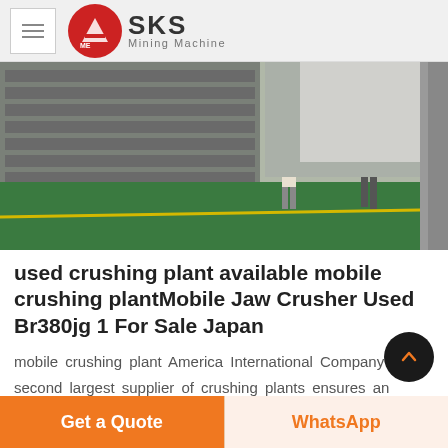SKS Mining Machine
[Figure (photo): Industrial factory/warehouse interior showing large machinery (conveyors or feeders) along the left wall with green-painted concrete floor. Two workers visible walking on the floor.]
used crushing plant available mobile crushing plantMobile Jaw Crusher Used Br380jg 1 For Sale Japan
mobile crushing plant America International Company is the second largest supplier of crushing plants ensures an excellent position on the market for mobile plants Read More BR350 CRUSHER for sale Trade Earthmover...